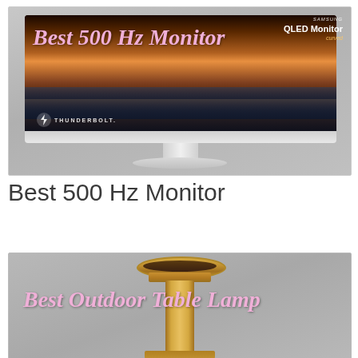[Figure (photo): Samsung QLED curved monitor with city skyline on screen, white stand, Thunderbolt logo visible, with italic pink overlay text reading Best 500 Hz Monitor]
Best 500 Hz Monitor
[Figure (photo): Gold/brass colored outdoor table lamp with ring top, tall stem, on grey background, with italic pink overlay text reading Best Outdoor Table Lamp]